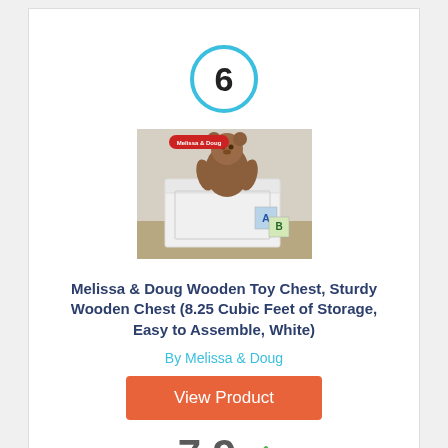6
[Figure (photo): Product photo of Melissa & Doug Wooden Toy Chest, white chest with a teddy bear on top and alphabet blocks beside it]
Melissa & Doug Wooden Toy Chest, Sturdy Wooden Chest (8.25 Cubic Feet of Storage, Easy to Assemble, White)
By Melissa & Doug
View Product
7.9
Score